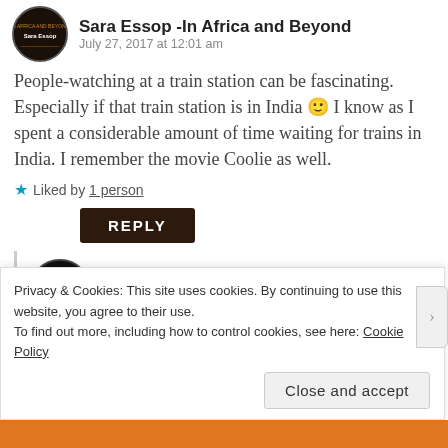Sara Essop -In Africa and Beyond
July 27, 2017 at 12:01 am
People-watching at a train station can be fascinating. Especially if that train station is in India 🙂 I know as I spent a considerable amount of time waiting for trains in India. I remember the movie Coolie as well.
★ Liked by 1 person
REPLY
Ticker Eats The World
July 27, 2017 at 1:27 pm
Privacy & Cookies: This site uses cookies. By continuing to use this website, you agree to their use.
To find out more, including how to control cookies, see here: Cookie Policy
Close and accept